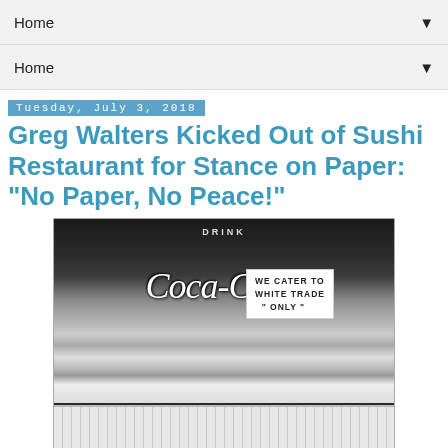Home
Home
Tuesday, July 3, 2018
Greg Walters Kicked Out of Sushi Restaurant for Stance on Paper: "No Paper, No Peace!"
[Figure (photo): Black and white photo of a diner window with a Drink Coca-Cola sign and a paper sign reading 'WE CATER TO WHITE TRADE ONLY']
"We serve paper users, only."